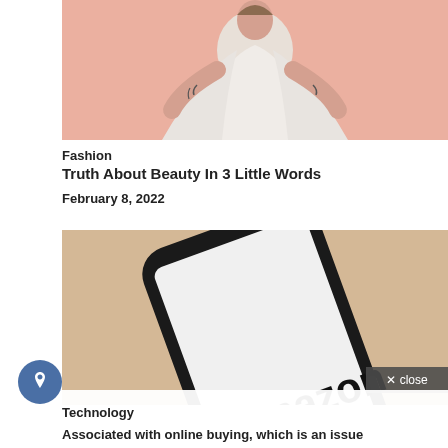[Figure (photo): Photo of a person in a white flowing outfit/robe against a pink background, with visible tattoos on arms]
Fashion
Truth About Beauty In 3 Little Words
February 8, 2022
[Figure (photo): Close-up photo of a Samsung smartphone lying on a beige/tan surface displaying the Amazon logo and wordmark on its screen. A dark overlay with 'X close' button appears in the bottom-right corner of the image.]
Technology
Associated with online buying, which is an issue